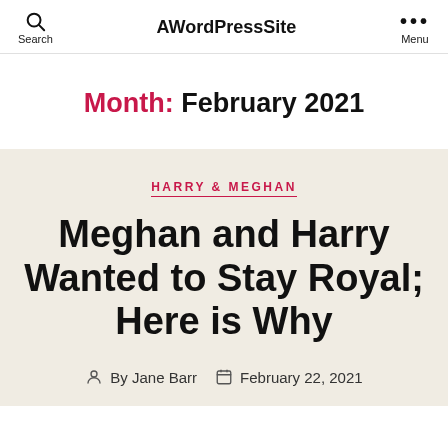AWordPressSite
Month: February 2021
HARRY & MEGHAN
Meghan and Harry Wanted to Stay Royal; Here is Why
By Jane Barr  February 22, 2021